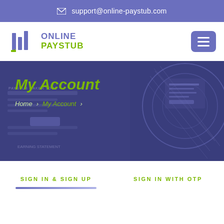✉ support@online-paystub.com
[Figure (logo): Online Paystub logo with pencil/document icon, text ONLINE PAYSTUB in blue and green]
[Figure (screenshot): Hero banner with dark blue/purple overlay over a screenshot of paystub maker tool interface, with circular abstract graphic on right]
My Account
Home > My Account >
SIGN IN & SIGN UP
SIGN IN WITH OTP